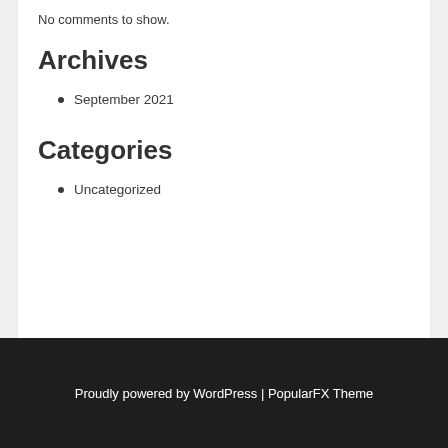No comments to show.
Archives
September 2021
Categories
Uncategorized
Proudly powered by WordPress | PopularFX Theme